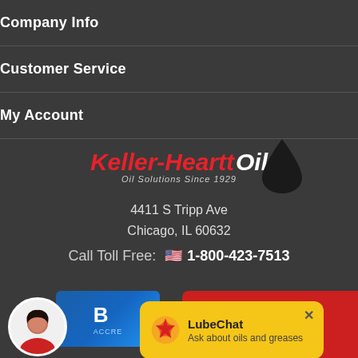Company Info
Customer Service
My Account
[Figure (logo): Keller-Heartt Oil logo with red italic text and oil droplet, tagline: Oil Solutions Since 1929]
4411 S Tripp Ave
Chicago, IL 60632
Call Toll Free: 1-800-423-7513
[Figure (screenshot): BBB Accredited Business badge (blue), Keller Heartt Live Chat button (red), LubeChat popup (yellow) with Shell logo, avatar circle with female customer service representative]